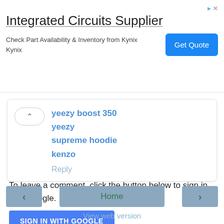[Figure (screenshot): Ad banner for Integrated Circuits Supplier by Kynix with Get Quote button]
yeezy boost 350
yeezy
supreme hoodie
kenzo
Reply
To leave a comment, click the button below to sign in with Google.
SIGN IN WITH GOOGLE
‹
Home
›
View web version